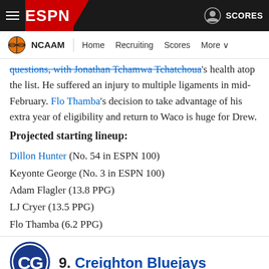ESPN - NCAAM | Home | Recruiting | Scores | More
questions, with Jonathan Tchamwa Tchatchoua's health atop the list. He suffered an injury to multiple ligaments in mid-February. Flo Thamba's decision to take advantage of his extra year of eligibility and return to Waco is huge for Drew.
Projected starting lineup:
Dillon Hunter (No. 54 in ESPN 100)
Keyonte George (No. 3 in ESPN 100)
Adam Flagler (13.8 PPG)
LJ Cryer (13.5 PPG)
Flo Thamba (6.2 PPG)
9. Creighton Bluejays
Creighton entering the season as the Big East